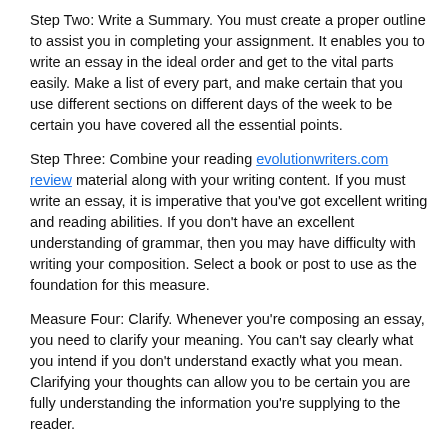Step Two: Write a Summary. You must create a proper outline to assist you in completing your assignment. It enables you to write an essay in the ideal order and get to the vital parts easily. Make a list of every part, and make certain that you use different sections on different days of the week to be certain you have covered all the essential points.
Step Three: Combine your reading evolutionwriters.com review material along with your writing content. If you must write an essay, it is imperative that you've got excellent writing and reading abilities. If you don't have an excellent understanding of grammar, then you may have difficulty with writing your composition. Select a book or post to use as the foundation for this measure.
Measure Four: Clarify. Whenever you're composing an essay, you need to clarify your meaning. You can't say clearly what you intend if you don't understand exactly what you mean. Clarifying your thoughts can allow you to be certain you are fully understanding the information you're supplying to the reader.
Measure 5: Rewrite the essay. Once you have written your first draft, then rewrite it until you've fully understood the very first draft. Then rewrite it , and then re-write it another three times before you have completely understood the article.